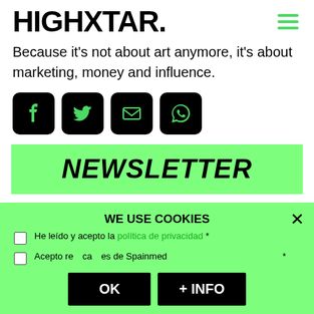HIGHXTAR.
Because it's not about art anymore, it's about marketing, money and influence.
[Figure (other): Social share icons: Facebook, Twitter, Email, WhatsApp — black rounded square icons with green symbols]
NEWSLETTER
* (email input field)
OK
WE USE COOKIES
He leído y acepto la política de privacidad *
Acepto recibir comunicaciones de las empresas de Spainmedia *
OK + INFO